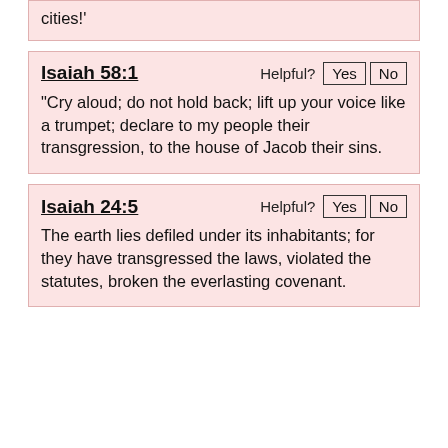cities!'
Isaiah 58:1
“Cry aloud; do not hold back; lift up your voice like a trumpet; declare to my people their transgression, to the house of Jacob their sins.
Isaiah 24:5
The earth lies defiled under its inhabitants; for they have transgressed the laws, violated the statutes, broken the everlasting covenant.